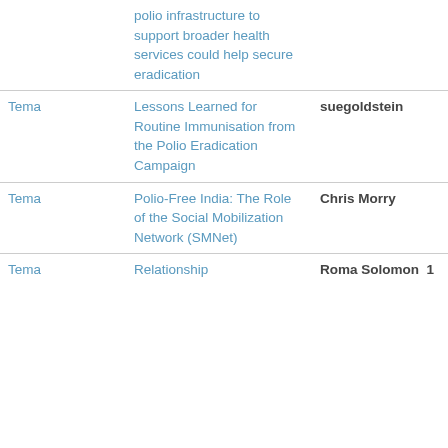| Category | Title | Author | Date |
| --- | --- | --- | --- |
|  | polio infrastructure to support broader health services could help secure eradication |  |  |
| Tema | Lessons Learned for Routine Immunisation from the Polio Eradication Campaign | suegoldstein | Jul 3 |
| Tema | Polio-Free India: The Role of the Social Mobilization Network (SMNet) | Chris Morry | Jul 2 |
| Tema | Relationship | Roma Solomon | Jul |